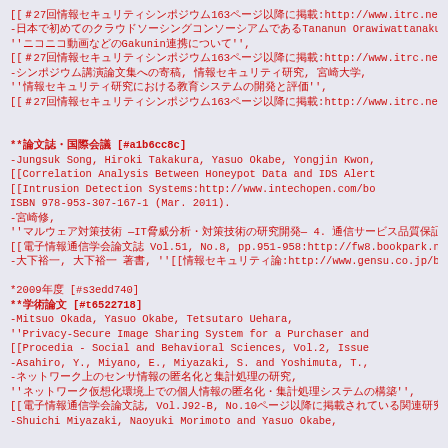[[＃27回情報セキュリティシンポジウム163ページ以降に掲載:http://www.itrc.net/meet27
-日本で初めてのクラウドソーシングコンソーシアムであるTananun Orawiwattanakulとの共同研究,
''ニコニコ動画などのGakunin連携について'',
[[＃27回情報セキュリティシンポジウム163ページ以降に掲載:http://www.itrc.net/meet27
-シンポジウム講演論文集への寄稿, 情報セキュリティ研究, 宮崎大学,
''情報セキュリティ研究における教育システムの開発と評価'',
[[＃27回情報セキュリティシンポジウム163ページ以降に掲載:http://www.itrc.net/meet27


**論文誌・国際会議 [#a1b6cc8c]
-Jungsuk Song, Hiroki Takakura, Yasuo Okabe, Yongjin Kwon,
[[Correlation Analysis Between Honeypot Data and IDS Alert
[[Intrusion Detection Systems:http://www.intechopen.com/bo
ISBN 978-953-307-167-1 (Mar. 2011).
-宮崎修,
''マルウェア対策技術 —IT脅威分析・対策技術の研究開発— 4. 通信サービス品質保証のためのセキュリティ技術QoEm
[[電子情報通信学会論文誌 Vol.51, No.8, pp.951-958:http://fw8.bookpark.ne.jp/
-大下裕一, 大下裕一 著書, ''[[情報セキュリティ論:http://www.gensu.co.jp/book_p

*2009年度 [#s3edd740]
**学術論文 [#t6522718]
-Mitsuo Okada, Yasuo Okabe, Tetsutaro Uehara,
''Privacy-Secure Image Sharing System for a Purchaser and
[[Procedia - Social and Behavioral Sciences, Vol.2, Issue
-Asahiro, Y., Miyano, E., Miyazaki, S. and Yoshimuta, T.,
-ネットワーク上のセンサ情報の匿名化と集計処理の研究,
''ネットワーク仮想化環境上での個人情報の匿名化・集計処理システムの構築'',
[[電子情報通信学会論文誌, Vol.J92-B, No.10ページ以降に掲載されている関連研究
-Shuichi Miyazaki, Naoyuki Morimoto and Yasuo Okabe,